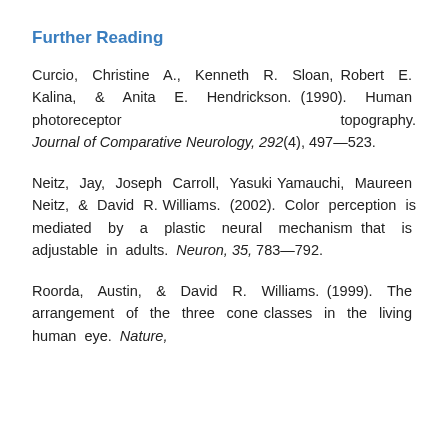Further Reading
Curcio, Christine A., Kenneth R. Sloan, Robert E. Kalina, & Anita E. Hendrickson. (1990). Human photoreceptor topography. Journal of Comparative Neurology, 292(4), 497—523.
Neitz, Jay, Joseph Carroll, Yasuki Yamauchi, Maureen Neitz, & David R. Williams. (2002). Color perception is mediated by a plastic neural mechanism that is adjustable in adults. Neuron, 35, 783—792.
Roorda, Austin, & David R. Williams. (1999). The arrangement of the three cone classes in the living human eye. Nature.